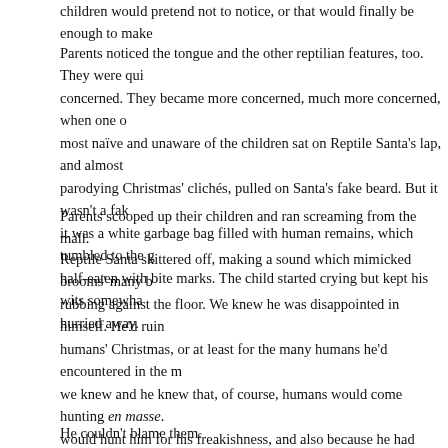children would pretend not to notice, or that would finally be enough to make
Parents noticed the tongue and the other reptilian features, too. They were qui concerned. They became more concerned, much more concerned, when one o most naïve and unaware of the children sat on Reptile Santa's lap, and almost parodying Christmas' clichés, pulled on Santa's fake beard. But it wasn't a fak it was a white garbage bag filled with human remains, which tumbled to the g half-eaten with bite marks. The child started crying but kept his wits somewha hurried away.
Parents scooped up their children and ran screaming from the mall.
Reptile Santa skittered off, making a sound which mimicked brooms' many b rubbing against the floor. We knew he was disappointed in himself. He'd ruin humans' Christmas, or at least for the many humans he'd encountered in the m we knew and he knew that, of course, humans would come hunting en masse. would hunt him for his freakishness, and also because he had evidently eaten humans, or most of some humans. And most of some humans was enough. It wasn't an overreaction by the humans.
He couldn't blame them.